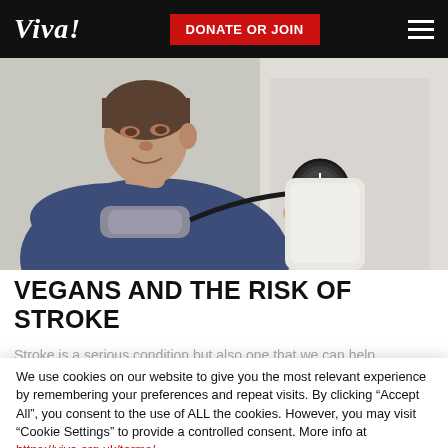Viva! | DONATE OR JOIN
[Figure (photo): A man in a blue shirt having his blood pressure taken by a medical professional in a white coat, using a sphygmomanometer.]
VEGANS AND THE RISK OF STROKE
Stroke is a serious condition but also one that we can help
We use cookies on our website to give you the most relevant experience by remembering your preferences and repeat visits. By clicking “Accept All”, you consent to the use of ALL the cookies. However, you may visit “Cookie Settings” to provide a controlled consent. More info at https://viva.org.uk/terms/
Cookie Settings | Accept All